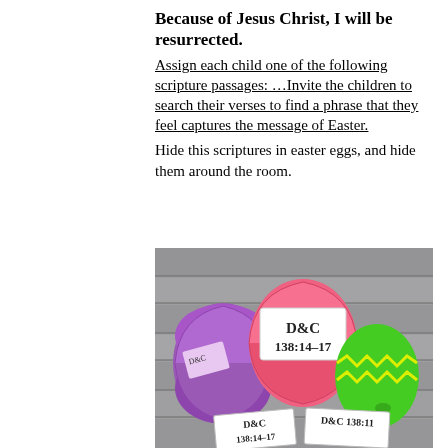Because of Jesus Christ, I will be resurrected.
Assign each child one of the following scripture passages: …Invite the children to search their verses to find a phrase that they feel captures the message of Easter.
Hide this scriptures in easter eggs, and hide them around the room.
[Figure (photo): Photo of plastic Easter eggs (pink and purple) opened with paper scripture reference notes inside. A green decorated Easter egg sits nearby. Notes visible read 'D&C 138:14-17', 'D&C 138:14-17', and 'D&C 138:11'. Background is a gray wood plank surface.]